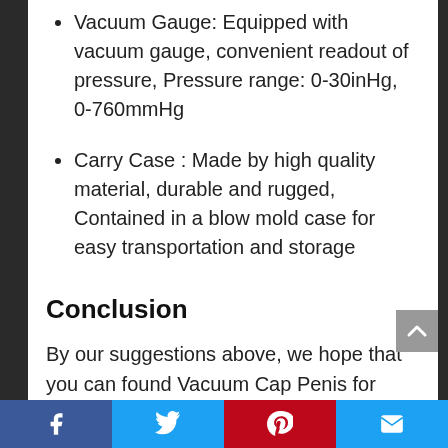Vacuum Gauge: Equipped with vacuum gauge, convenient readout of pressure, Pressure range: 0-30inHg, 0-760mmHg
Carry Case : Made by high quality material, durable and rugged, Contained in a blow mold case for easy transportation and storage
Conclusion
By our suggestions above, we hope that you can found Vacuum Cap Penis for you.Please